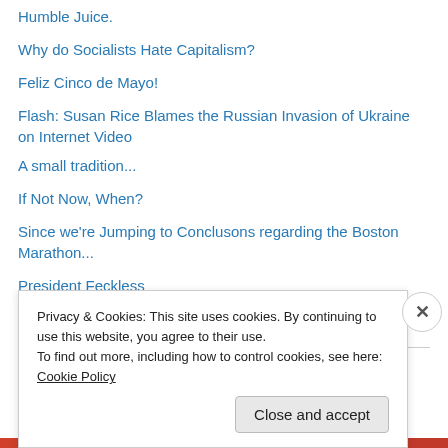Humble Juice.
Why do Socialists Hate Capitalism?
Feliz Cinco de Mayo!
Flash: Susan Rice Blames the Russian Invasion of Ukraine on Internet Video
A small tradition...
If Not Now, When?
Since we're Jumping to Conclusons regarding the Boston Marathon...
President Feckless
Free Pre-School for Everyone
The latest in slurred typing
Privacy & Cookies: This site uses cookies. By continuing to use this website, you agree to their use.
To find out more, including how to control cookies, see here: Cookie Policy
Close and accept